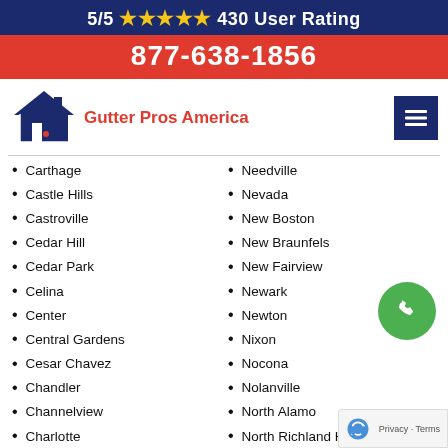5/5 ★★★★★ 430 User Rating
877-638-1856
[Figure (logo): Gutter Pros America logo with house roof icon and red dot]
Carthage
Castle Hills
Castroville
Cedar Hill
Cedar Park
Celina
Center
Central Gardens
Cesar Chavez
Chandler
Channelview
Charlotte
Childress
China
Needville
Nevada
New Boston
New Braunfels
New Fairview
Newark
Newton
Nixon
Nocona
Nolanville
North Alamo
North Richland Hills
Northlake
Oak Leaf